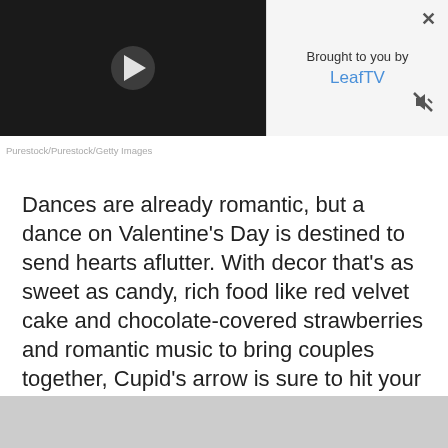[Figure (screenshot): Video player thumbnail showing a dark/black background with a white play button triangle in the center.]
Brought to you by
LeafTV
Purestock/Purestock/Getty Images
Dances are already romantic, but a dance on Valentine's Day is destined to send hearts aflutter. With decor that's as sweet as candy, rich food like red velvet cake and chocolate-covered strawberries and romantic music to bring couples together, Cupid's arrow is sure to hit your Valentine's Day dance.